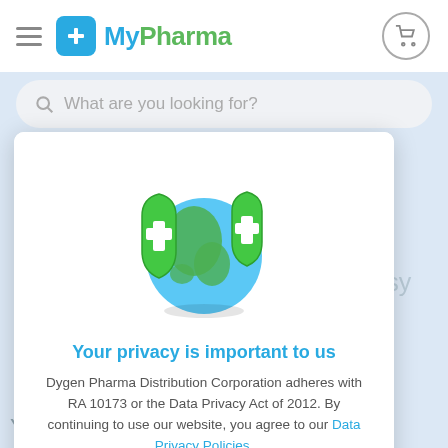[Figure (logo): MyPharma logo with blue plus icon and green text, hamburger menu icon on left, shopping cart icon on right]
What are you looking for?
[Figure (illustration): 3D illustration of a globe with two green medical shield icons with white cross symbols]
Your privacy is important to us
Dygen Pharma Distribution Corporation adheres with RA 10173 or the Data Privacy Act of 2012. By continuing to use our website, you agree to our Data Privacy Policies.
I AGREE
You're our priority.